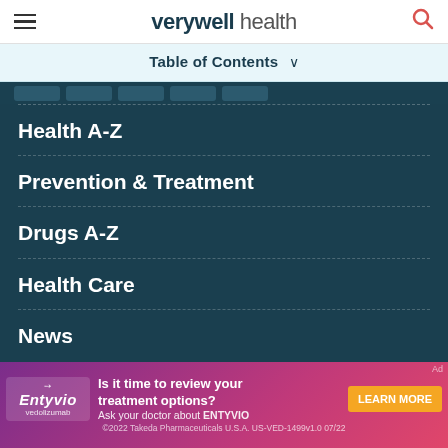verywell health
Table of Contents ❯
Health A-Z
Prevention & Treatment
Drugs A-Z
Health Care
News
Medical Expert Board
About Us
Editorial Process
Diversity Pledge
Privacy Policy
In the News
[Figure (infographic): Entyvio (vedolizumab) advertisement banner. Text: Is it time to review your treatment options? Ask your doctor about ENTYVIO. LEARN MORE button. ©2022 Takeda Pharmaceuticals U.S.A. US-VED-1499v1.0 07/22]
©2022 Takeda Pharmaceuticals U.S.A. US-VED-1499v1.0 07/22